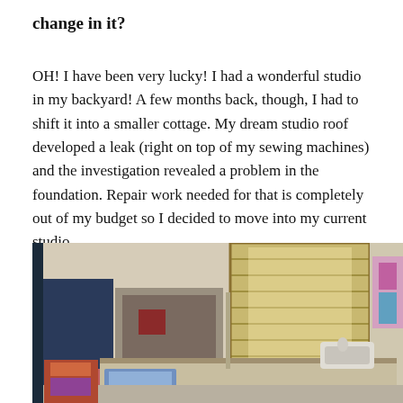change in it?
OH! I have been very lucky! I had a wonderful studio in my backyard! A few months back, though, I had to shift it into a smaller cottage. My dream studio roof developed a leak (right on top of my sewing machines) and the investigation revealed a problem in the foundation. Repair work needed for that is completely out of my budget so I decided to move into my current studio.
[Figure (photo): Interior photo of a sewing studio with a window with wooden shutters, a worktable with a sewing machine, artworks on the wall, and various sewing supplies.]